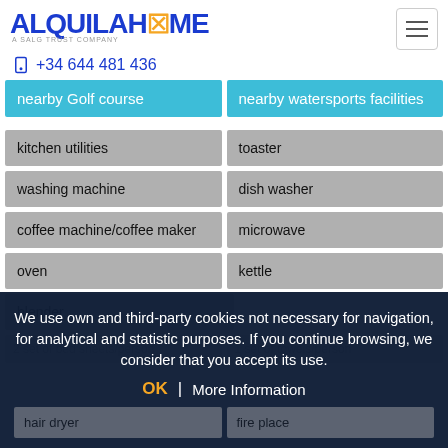AlquilaHome | +34 644 481 436
| nearby Golf course | nearby watersports facilities |
| kitchen utilities | toaster |
| washing machine | dish washer |
| coffee machine/coffee maker | microwave |
| oven | kettle |
| blender |  |
| 2 set of bed sheets/person | 1 set of towels/person |
| hair dryer | fire place |
We use own and third-party cookies not necessary for navigation, for analytical and statistic purposes. If you continue browsing, we consider that you accept its use.
OK | More Information